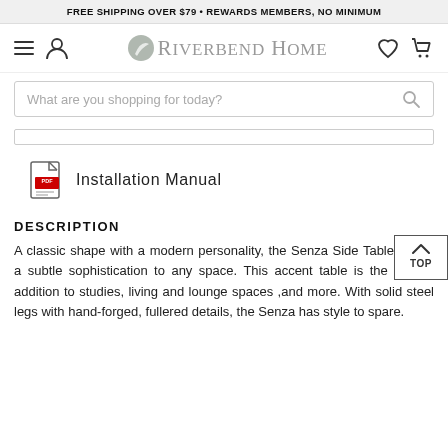FREE SHIPPING OVER $79 • REWARDS MEMBERS, NO MINIMUM
[Figure (logo): Riverbend Home logo with leaf icon and navigation icons (hamburger menu, user, heart, cart)]
[Figure (screenshot): Search bar with placeholder text: What are you shopping for today?]
[Figure (other): Tab/content area border]
Installation Manual
DESCRIPTION
A classic shape with a modern personality, the Senza Side Table brings a subtle sophistication to any space. This accent table is the perfect addition to studies, living and lounge spaces ,and more. With solid steel legs with hand-forged, fullered details, the Senza has style to spare.